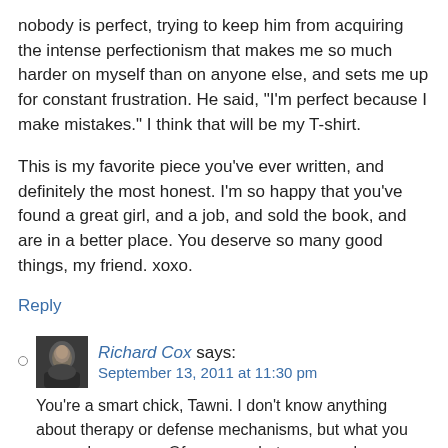nobody is perfect, trying to keep him from acquiring the intense perfectionism that makes me so much harder on myself than on anyone else, and sets me up for constant frustration. He said, "I'm perfect because I make mistakes." I think that will be my T-shirt.
This is my favorite piece you've ever written, and definitely the most honest. I'm so happy that you've found a great girl, and a job, and sold the book, and are in a better place. You deserve so many good things, my friend. xoxo.
Reply
[Figure (photo): Small avatar photo of Richard Cox, appears to be a dark-toned portrait photo]
Richard Cox says:
September 13, 2011 at 11:30 pm
You're a smart chick, Tawni. I don't know anything about therapy or defense mechanisms, but what you say makes sense. Of course, what you say always makes sense.